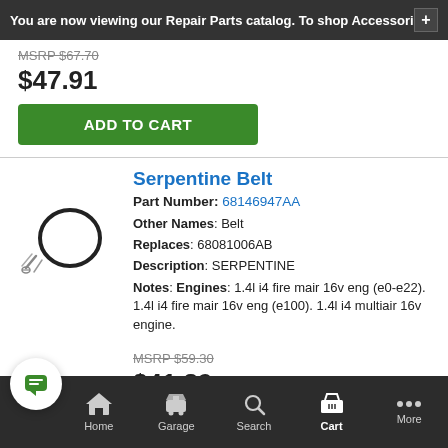You are now viewing our Repair Parts catalog. To shop Accessori +
MSRP $67.70
$47.91
ADD TO CART
Serpentine Belt
Part Number: 68146947AA
Other Names: Belt
Replaces: 68081006AB
Description: SERPENTINE
Notes: Engines: 1.4l i4 fire mair 16v eng (e0-e22). 1.4l i4 fire mair 16v eng (e100). 1.4l i4 multiair 16v engine.
MSRP $59.30
$41.89
ADD TO CART
Home  Garage  Search  Cart  More